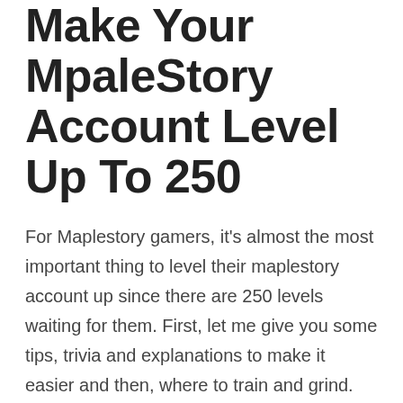Make Your MpaleStory Account Level Up To 250
For Maplestory gamers, it's almost the most important thing to level their maplestory account up since there are 250 levels waiting for them. First, let me give you some tips, trivia and explanations to make it easier and then, where to train and grind. So here is the list that you want to read before starting your